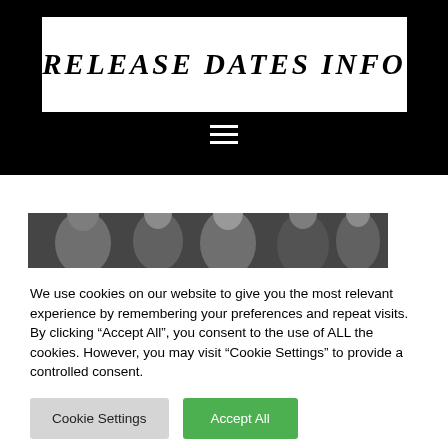RELEASE DATES INFO
[Figure (photo): Header navigation bar with hamburger menu icon on black background]
[Figure (photo): Photo of several people, partially visible, cropped]
We use cookies on our website to give you the most relevant experience by remembering your preferences and repeat visits. By clicking “Accept All”, you consent to the use of ALL the cookies. However, you may visit "Cookie Settings" to provide a controlled consent.
Cookie Settings | Accept All